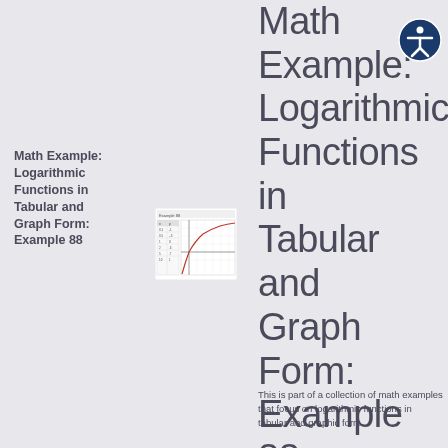Math Example: Logarithmic Functions in Tabular and Graph Form: Example 88
[Figure (screenshot): Thumbnail image of a logarithmic function table and graph, Example 88]
Math Example: Logarithmic Functions in Tabular and Graph Form: Example 88
This is part of a collection of math examples that focus on logarithmic functions in tabular and graphic form.